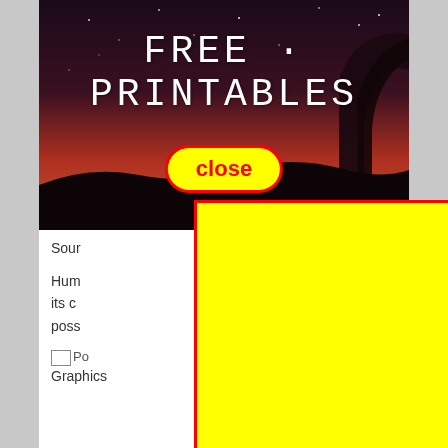[Figure (photo): Night sky / dusk photo with silhouetted trees and orange-red gradient sky, with large text 'FREE PRINTABLES' overlaid in white serif letters, and a yellow 'close' button with red border overlaid near center]
Sour
Hum... d by its c... 'm poss...
[Figure (photo): Small image thumbnail labeled 'Po']
Graphics